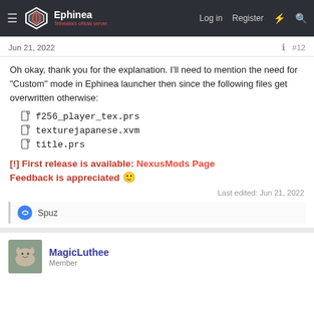Ephinea — Tethealla's official server — Log in Register
Jun 21, 2022  #12
Oh okay, thank you for the explanation. I'll need to mention the need for "Custom" mode in Ephinea launcher then since the following files get overwritten otherwise:
f256_player_tex.prs
texturejapanese.xvm
title.prs
[!] First release is available: NexusMods Page
Feedback is appreciated 🙂
Last edited: Jun 21, 2022
Spuz
MagicLuthee
Member